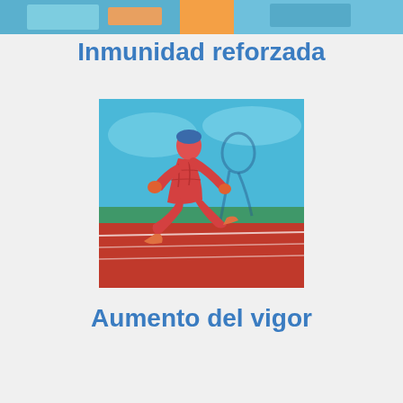[Figure (photo): Partial view of an image at the top of the page, appears to show a person with blue/teal background]
Inmunidad reforzada
[Figure (illustration): 3D anatomical illustration of a running human figure showing musculature, set against a teal/blue sky background with a red athletic track in the foreground]
Aumento del vigor